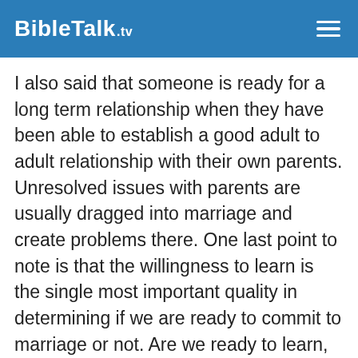BibleTalk.TV
I also said that someone is ready for a long term relationship when they have been able to establish a good adult to adult relationship with their own parents. Unresolved issues with parents are usually dragged into marriage and create problems there. One last point to note is that the willingness to learn is the single most important quality in determining if we are ready to commit to marriage or not. Are we ready to learn, to adapt, to change in order to enter into a serious and committed relationship? If we are, then we are ready.